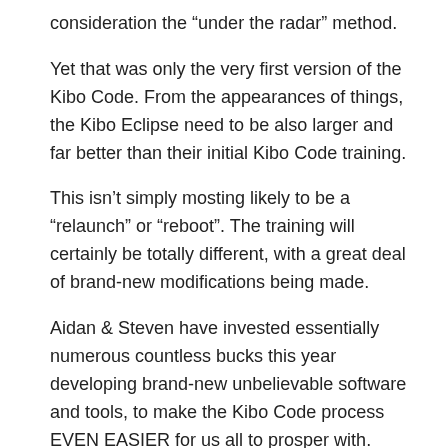consideration the “under the radar” method.
Yet that was only the very first version of the Kibo Code. From the appearances of things, the Kibo Eclipse need to be also larger and far better than their initial Kibo Code training.
This isn’t simply mosting likely to be a “relaunch” or “reboot”. The training will certainly be totally different, with a great deal of brand-new modifications being made.
Aidan & Steven have invested essentially numerous countless bucks this year developing brand-new unbelievable software and tools, to make the Kibo Code process EVEN EASIER for us all to prosper with.
So whatever they have preparing, should be extremely interesting to state the really the very least.
What The Kibo Eclipse Will...